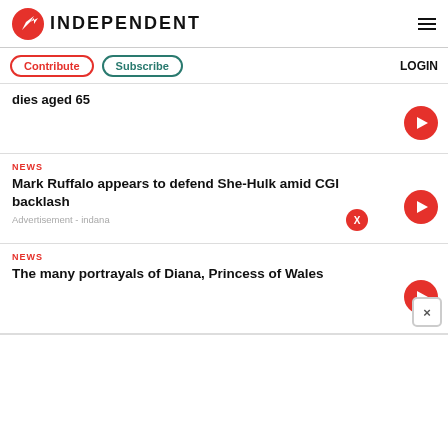INDEPENDENT
Contribute | Subscribe | LOGIN
dies aged 65
NEWS
Mark Ruffalo appears to defend She-Hulk amid CGI backlash
Advertisement - indana
NEWS
The many portrayals of Diana, Princess of Wales